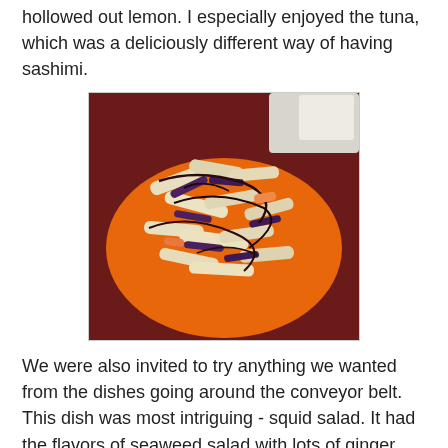hollowed out lemon. I especially enjoyed the tuna, which was a deliciously different way of having sashimi.
[Figure (photo): A plate of squid salad on an orange plate, with dark sauce drizzled over strips of squid and vegetables, on a dark red table.]
We were also invited to try anything we wanted from the dishes going around the conveyor belt. This dish was most intriguing - squid salad. It had the flavors of seaweed salad with lots of ginger, and the squid was pleasantly chewy.
[Figure (photo): Orange paper lanterns hanging from the ceiling of a Japanese restaurant, with Japanese characters written on them, glowing warmly.]